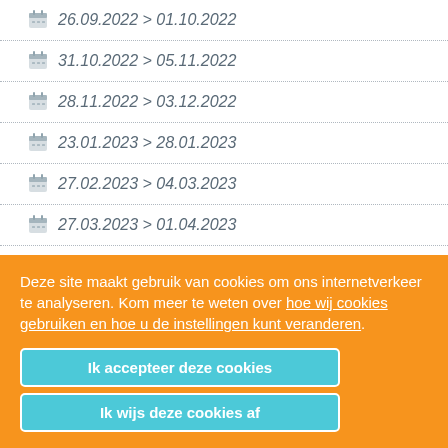26.09.2022 > 01.10.2022
31.10.2022 > 05.11.2022
28.11.2022 > 03.12.2022
23.01.2023 > 28.01.2023
27.02.2023 > 04.03.2023
27.03.2023 > 01.04.2023
24.04.2023 > 29.04.2023
22.05.2023 > 27.05.2023
Deze site maakt gebruik van cookies om ons internetverkeer te analyseren. Kom meer te weten over hoe wij cookies gebruiken en hoe u de instellingen kunt veranderen.
Ik accepteer deze cookies
Ik wijs deze cookies af